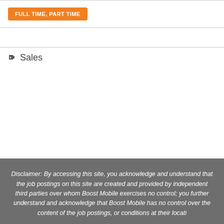FULL TIME, PART TIME
Sales
Disclaimer: By accessing this site, you acknowledge and understand that the job postings on this site are created and provided by independent third parties over whom Boost Mobile exercises no control; you further understand and acknowledge that Boost Mobile has no control over the content of the job postings, or conditions at their locations